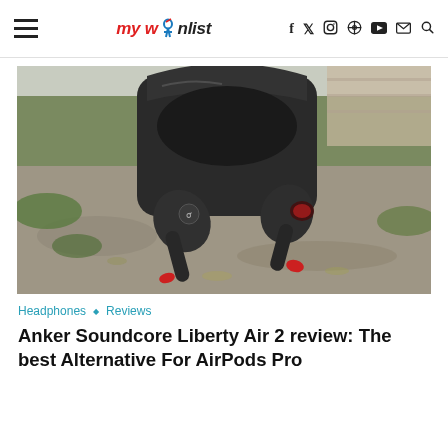mywi[figure]nlist — navigation with hamburger menu and social icons: f, twitter, instagram, pinterest, youtube, mail, search
[Figure (photo): Close-up photo of Anker Soundcore Liberty Air 2 wireless earbuds outside their charging case, placed on a stone surface with green moss in the background. The earbuds are dark grey/black with red accent rings.]
Headphones ◇ Reviews
Anker Soundcore Liberty Air 2 review: The best Alternative For AirPods Pro